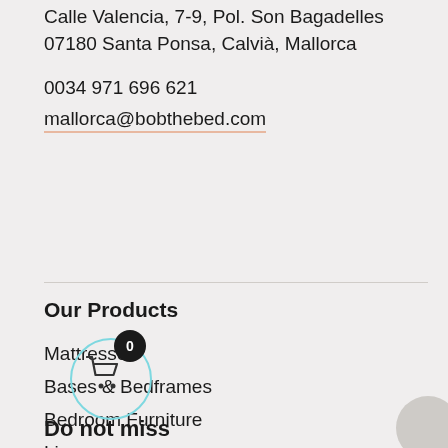Calle Valencia, 7-9, Pol. Son Bagadelles
07180 Santa Ponsa, Calvià, Mallorca
0034 971 696 621
mallorca@bobthebed.com
Our Products
Mattresses
Bases & Bedframes
Bedroom Furniture
Linens
Sofas & SofaBeds
Terrace Furniture
Do not miss